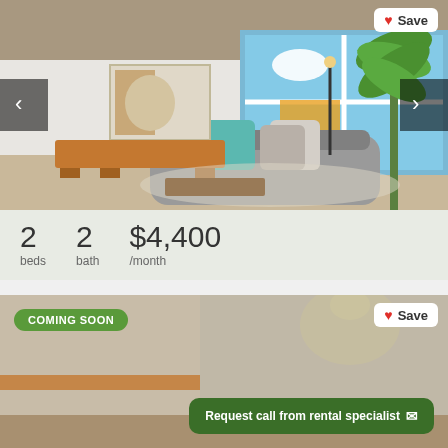[Figure (photo): Interior photo of a modern apartment living room with gray sofa, colorful art, large windows, and tropical plant]
2 beds  2 bath  $4,400 /month
[Figure (photo): Second apartment listing photo, partially visible, showing interior space]
COMING SOON
Save
Request call from rental specialist